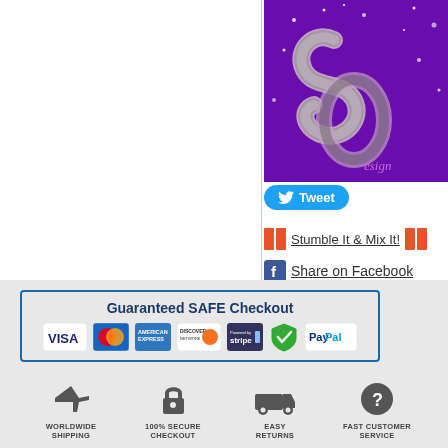[Figure (logo): Purple background logo with metallic decorative script lettering]
[Figure (infographic): Tweet button (Twitter/X social share button, blue rounded rectangle with bird icon and 'Tweet' text)]
Stumble It & Mix It!
Share on Facebook
[Figure (infographic): Guaranteed SAFE Checkout badge with payment icons: VISA, Mastercard, American Express, Discover, Stripe, verified checkmark, PayPal]
[Figure (infographic): Four trust badges: Worldwide Shipping (airplane icon), 100% Secure Checkout (lock icon), Easy Returns (truck icon), Fast Customer Service (question mark icon)]